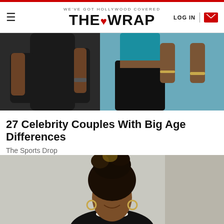WE'VE GOT HOLLYWOOD COVERED — THE WRAP — LOG IN
[Figure (photo): Cropped photo of a couple at a beach, one person in black outfit and one in teal/turquoise crop top with black pants]
27 Celebrity Couples With Big Age Differences
The Sports Drop
[Figure (photo): Portrait photo of a young Black woman with locs styled up in a bun, wearing gold hoop earrings and a pearl necklace, smiling]